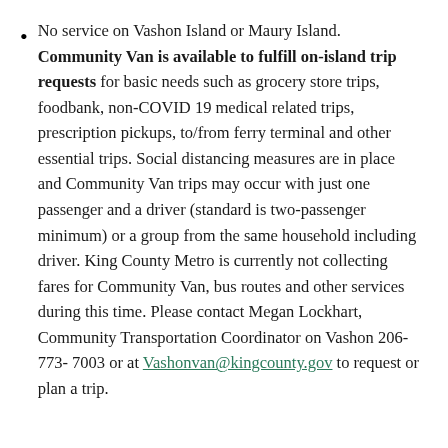No service on Vashon Island or Maury Island. Community Van is available to fulfill on-island trip requests for basic needs such as grocery store trips, foodbank, non-COVID 19 medical related trips, prescription pickups, to/from ferry terminal and other essential trips. Social distancing measures are in place and Community Van trips may occur with just one passenger and a driver (standard is two-passenger minimum) or a group from the same household including driver. King County Metro is currently not collecting fares for Community Van, bus routes and other services during this time. Please contact Megan Lockhart, Community Transportation Coordinator on Vashon 206-773-7003 or at Vashonvan@kingcounty.gov to request or plan a trip.